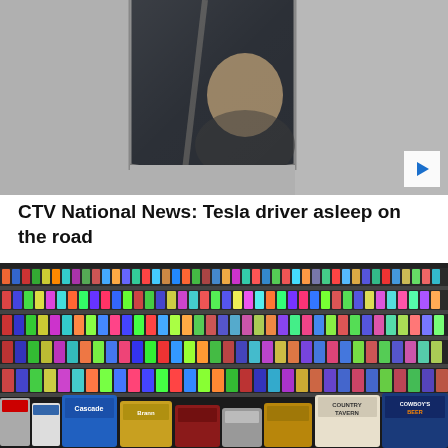[Figure (photo): Video thumbnail showing a person asleep in the driver seat of a Tesla car, seen through the car window. A white play button arrow is visible in the bottom right corner.]
CTV National News: Tesla driver asleep on the road
[Figure (photo): Shelves stocked with a large collection of colorful beer cans of various brands, with larger cans visible in the foreground including Cascade, Country Tavern, and Cowboy's Beer brands.]